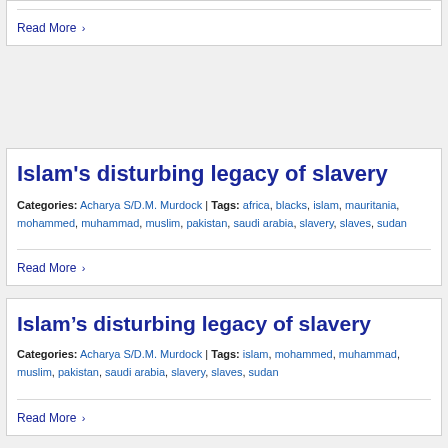Read More >
Islam's disturbing legacy of slavery
Categories: Acharya S/D.M. Murdock | Tags: africa, blacks, islam, mauritania, mohammed, muhammad, muslim, pakistan, saudi arabia, slavery, slaves, sudan
Read More >
Islam’s disturbing legacy of slavery
Categories: Acharya S/D.M. Murdock | Tags: islam, mohammed, muhammad, muslim, pakistan, saudi arabia, slavery, slaves, sudan
Read More >